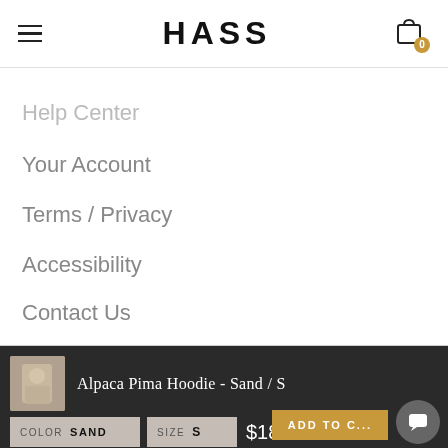HASS
Help Center
Your Account
Terms / Privacy
Accessibility
Contact Us
Alpaca Pima Hoodie - Sand / S
COLOR  SAND   SIZE  S   $180.00
ADD TO C...